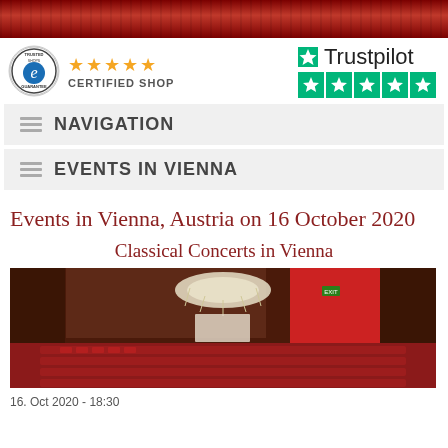[Figure (illustration): Red decorative banner header with ornate pattern]
[Figure (logo): Trusted Shops certified shop logo with 5 gold stars and CERTIFIED SHOP text]
[Figure (logo): Trustpilot logo with green star and 5 green star rating boxes]
NAVIGATION
EVENTS IN VIENNA
Events in Vienna, Austria on 16 October 2020
Classical Concerts in Vienna
[Figure (photo): Interior of an ornate Viennese concert hall with wooden paneling, red walls, crystal chandelier, and rows of red seats]
16. Oct 2020 - 18:30